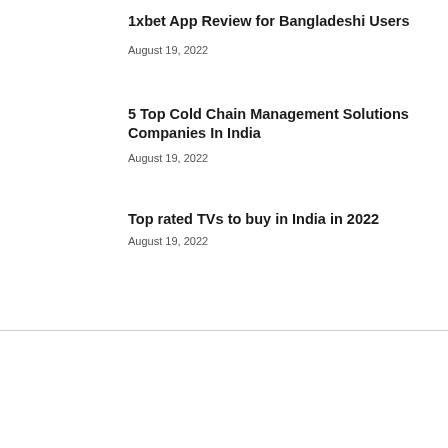1xbet App Review for Bangladeshi Users
August 19, 2022
5 Top Cold Chain Management Solutions Companies In India
August 19, 2022
Top rated TVs to buy in India in 2022
August 19, 2022